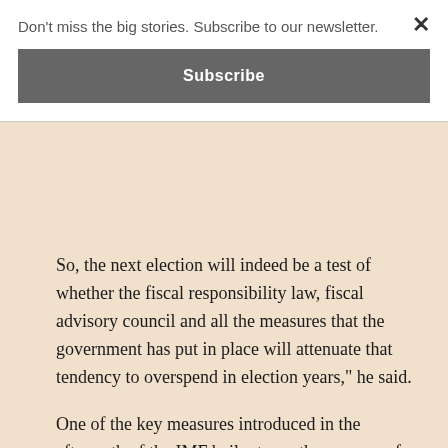Don't miss the big stories. Subscribe to our newsletter.
Subscribe
So, the next election will indeed be a test of whether the fiscal responsibility law, fiscal advisory council and all the measures that the government has put in place will attenuate that tendency to overspend in election years," he said.
One of the key measures introduced in the aftermath of the IMF bailout was the passage of the Fiscal Responsibility Act which puts a 5 percent cap on the budget deficit that could be recorded in a fiscal year.
The Fiscal Responsibility Act has continuously